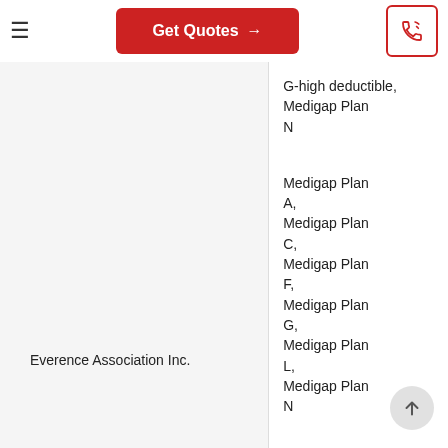Get Quotes →
G-high deductible, Medigap Plan N
Everence Association Inc.
Medigap Plan A, Medigap Plan C, Medigap Plan F, Medigap Plan G, Medigap Plan L, Medigap Plan N